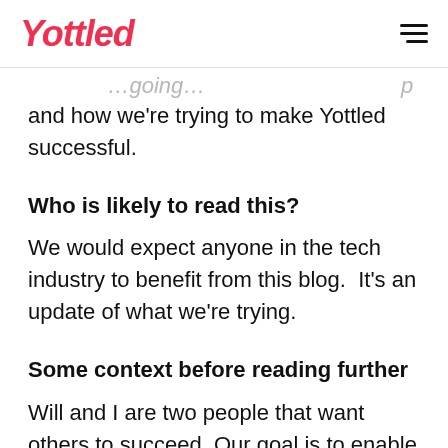to share what we're doing from the
Yottled
and how we're trying to make Yottled successful.
Who is likely to read this?
We would expect anyone in the tech industry to benefit from this blog.  It's an update of what we're trying.
Some context before reading further
Will and I are two people that want others to succeed. Our goal is to enable others to